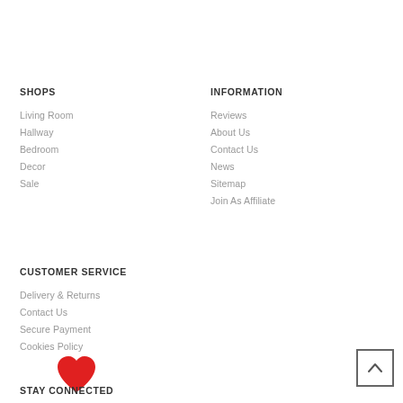SHOPS
Living Room
Hallway
Bedroom
Decor
Sale
INFORMATION
Reviews
About Us
Contact Us
News
Sitemap
Join As Affiliate
CUSTOMER SERVICE
Delivery & Returns
Contact Us
Secure Payment
Cookies Policy
STAY CONNECTED
[Figure (illustration): Red heart icon (wishlist/favorites button)]
[Figure (other): Back-to-top arrow button (chevron up in a square border)]